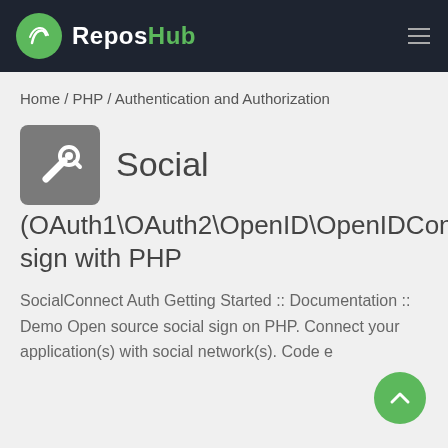ReposHub
Home / PHP / Authentication and Authorization
Social (OAuth1\OAuth2\OpenID\OpenIDConnect) sign with PHP
SocialConnect Auth Getting Started :: Documentation :: Demo Open source social sign on PHP. Connect your application(s) with social network(s). Code e